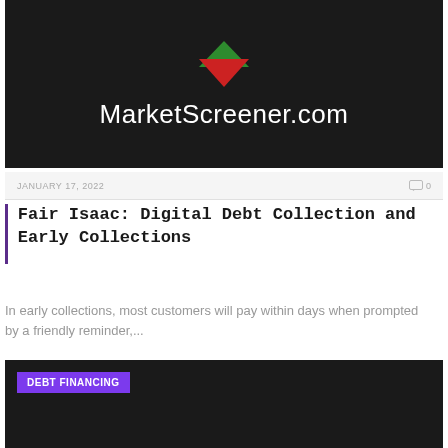[Figure (logo): MarketScreener.com logo with red and green triangular arrows on dark background]
JANUARY 17, 2022    0
Fair Isaac: Digital Debt Collection and Early Collections
In early collections, most customers will pay within days when prompted by a friendly reminder,...
[Figure (other): Dark banner with DEBT FINANCING label in purple tag]